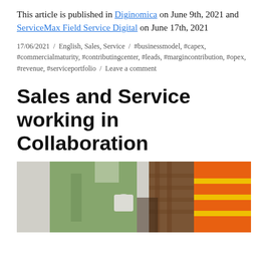This article is published in Diginomica on June 9th, 2021 and ServiceMax Field Service Digital on June 17th, 2021
17/06/2021 / English, Sales, Service / #businessmodel, #capex, #commercialmaturity, #contributingcenter, #leads, #margincontribution, #opex, #revenue, #serviceportfolio / Leave a comment
Sales and Service working in Collaboration
[Figure (photo): Two workers in work clothes — one in a green jacket, one in a plaid shirt with an orange high-visibility vest — appear to be collaborating over documents or blueprints.]